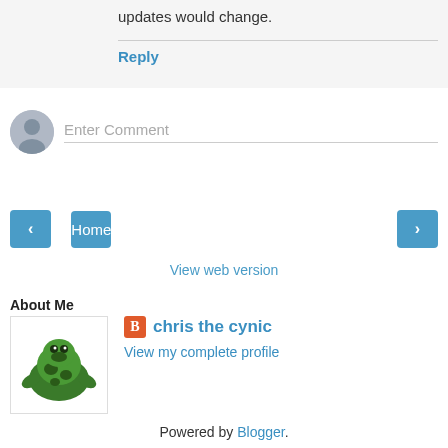updates would change.
Reply
Enter Comment
‹
Home
›
View web version
About Me
[Figure (photo): Profile photo showing a green cartoon creature/turtle illustration]
chris the cynic
View my complete profile
Powered by Blogger.